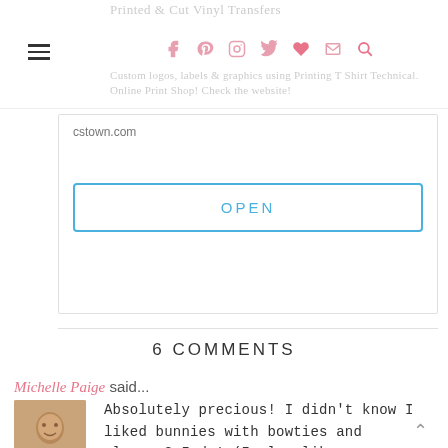Printed & Cut Vinyl Transfers | Custom logos, labels & graphics using Printing T Shirt Technical. Online Print Shop! Check the website!
cstown.com
OPEN
6 COMMENTS
Michelle Paige said...
Absolutely precious! I didn't know I liked bunnies with bowties and glasses? I do! (I also like your animals with hearts on their